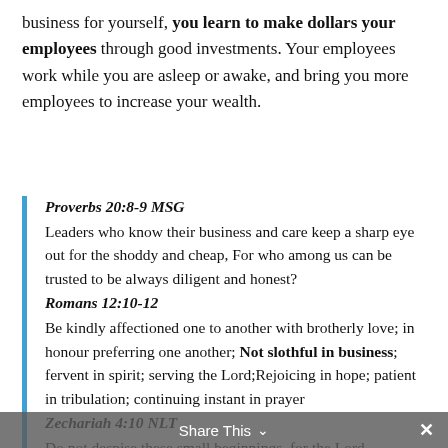business for yourself, you learn to make dollars your employees through good investments. Your employees work while you are asleep or awake, and bring you more employees to increase your wealth.
Proverbs 20:8-9 MSG
Leaders who know their business and care keep a sharp eye out for the shoddy and cheap, For who among us can be trusted to be always diligent and honest?
Romans 12:10-12
Be kindly affectioned one to another with brotherly love; in honour preferring one another; Not slothful in business; fervent in spirit; serving the Lord;Rejoicing in hope; patient in tribulation; continuing instant in prayer
Zechariah 4:10 NLT
Do not despise these small beginnings, for the Lord
Share This ∨  ×